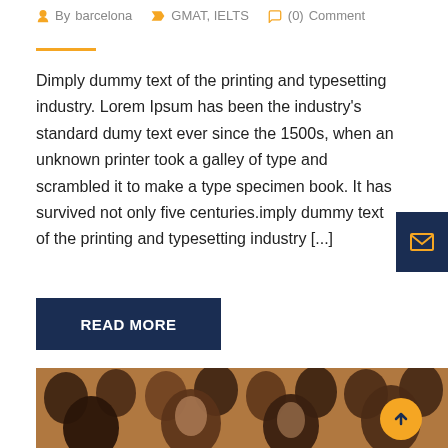By barcelona   GMAT, IELTS   (0) Comment
Dimply dummy text of the printing and typesetting industry. Lorem Ipsum has been the industry's standard dumy text ever since the 1500s, when an unknown printer took a galley of type and scrambled it to make a type specimen book. It has survived not only five centuries.imply dummy text of the printing and typesetting industry [...]
READ MORE
[Figure (photo): Group of students smiling in a classroom setting]